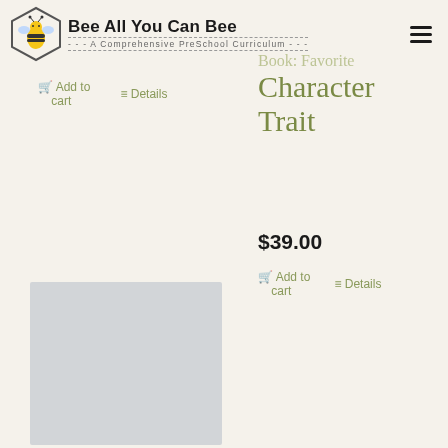Bee All You Can Bee — A Comprehensive PreSchool Curriculum
Add to cart   Details
Character Trait
$39.00
Add to cart   Details
[Figure (photo): Light gray placeholder image rectangle for a product photo]